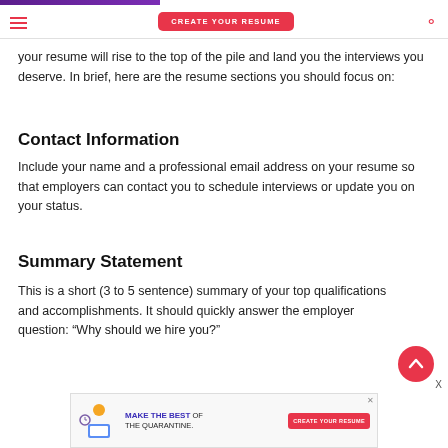CREATE YOUR RESUME
your resume will rise to the top of the pile and land you the interviews you deserve. In brief, here are the resume sections you should focus on:
Contact Information
Include your name and a professional email address on your resume so that employers can contact you to schedule interviews or update you on your status.
Summary Statement
This is a short (3 to 5 sentence) summary of your top qualifications and accomplishments. It should quickly answer the employer question: “Why should we hire you?”
[Figure (infographic): Advertisement banner: MAKE THE BEST OF THE QUARANTINE. CREATE YOUR RESUME button with illustration of person at laptop.]